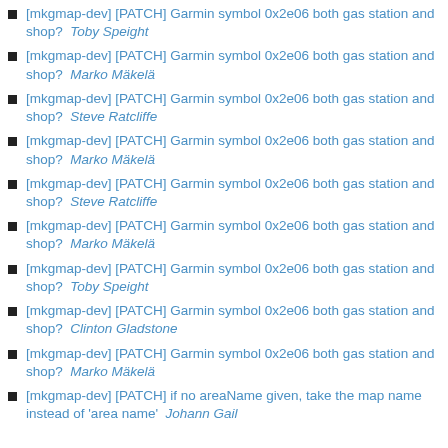[mkgmap-dev] [PATCH] Garmin symbol 0x2e06 both gas station and shop?  Toby Speight
[mkgmap-dev] [PATCH] Garmin symbol 0x2e06 both gas station and shop?  Marko Mäkelä
[mkgmap-dev] [PATCH] Garmin symbol 0x2e06 both gas station and shop?  Steve Ratcliffe
[mkgmap-dev] [PATCH] Garmin symbol 0x2e06 both gas station and shop?  Marko Mäkelä
[mkgmap-dev] [PATCH] Garmin symbol 0x2e06 both gas station and shop?  Steve Ratcliffe
[mkgmap-dev] [PATCH] Garmin symbol 0x2e06 both gas station and shop?  Marko Mäkelä
[mkgmap-dev] [PATCH] Garmin symbol 0x2e06 both gas station and shop?  Toby Speight
[mkgmap-dev] [PATCH] Garmin symbol 0x2e06 both gas station and shop?  Clinton Gladstone
[mkgmap-dev] [PATCH] Garmin symbol 0x2e06 both gas station and shop?  Marko Mäkelä
[mkgmap-dev] [PATCH] if no areaName given, take the map name instead of 'area name'  Johann Gail